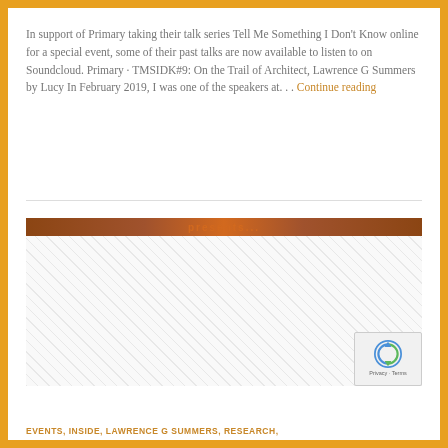In support of Primary taking their talk series Tell Me Something I Don't Know online for a special event, some of their past talks are now available to listen to on Soundcloud. Primary · TMSIDK#9: On the Trail of Architect, Lawrence G Summers by Lucy In February 2019, I was one of the speakers at. . . Continue reading
[Figure (photo): A partially visible presentation image with a wooden/marble textured banner at the top reading 'presents...' in stylized text, with a checkered/hatched white area below.]
EVENTS, INSIDE, LAWRENCE G SUMMERS, RESEARCH,